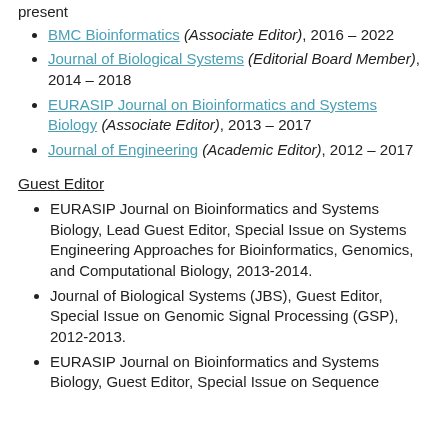present
BMC Bioinformatics (Associate Editor), 2016 – 2022
Journal of Biological Systems (Editorial Board Member), 2014 – 2018
EURASIP Journal on Bioinformatics and Systems Biology (Associate Editor), 2013 – 2017
Journal of Engineering (Academic Editor), 2012 – 2017
Guest Editor
EURASIP Journal on Bioinformatics and Systems Biology, Lead Guest Editor, Special Issue on Systems Engineering Approaches for Bioinformatics, Genomics, and Computational Biology, 2013-2014.
Journal of Biological Systems (JBS), Guest Editor, Special Issue on Genomic Signal Processing (GSP), 2012-2013.
EURASIP Journal on Bioinformatics and Systems Biology, Guest Editor, Special Issue on Sequence...